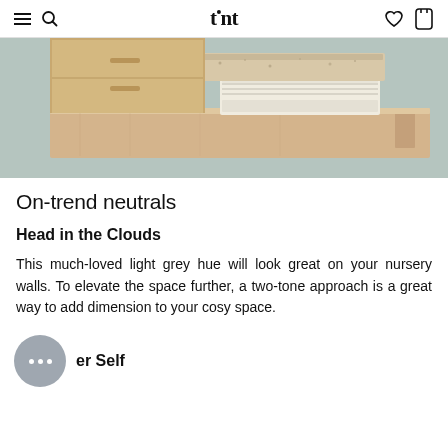tint
[Figure (photo): Folded towels and textile items stacked on a light wood shelf, with a grey-green wall in the background.]
On-trend neutrals
Head in the Clouds
This much-loved light grey hue will look great on your nursery walls. To elevate the space further, a two-tone approach is a great way to add dimension to your cosy space.
er Self